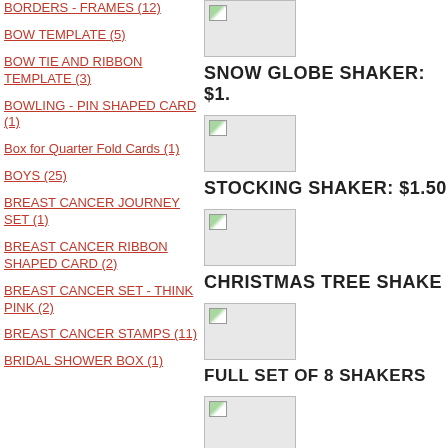BORDERS - FRAMES (12)
BOW TEMPLATE (5)
BOW TIE AND RIBBON TEMPLATE (3)
BOWLING - PIN SHAPED CARD (1)
Box for Quarter Fold Cards (1)
BOYS (25)
BREAST CANCER JOURNEY SET (1)
BREAST CANCER RIBBON SHAPED CARD (2)
BREAST CANCER SET - THINK PINK (2)
BREAST CANCER STAMPS (11)
BRIDAL SHOWER BOX (1)
[Figure (photo): Small thumbnail image placeholder]
SNOW GLOBE SHAKER: $1.
[Figure (photo): Small thumbnail image placeholder]
STOCKING SHAKER: $1.50
[Figure (photo): Small thumbnail image placeholder]
CHRISTMAS TREE SHAKE
[Figure (photo): Small thumbnail image placeholder]
FULL SET OF 8 SHAKERS
[Figure (photo): Small thumbnail image placeholder]
click here for more shaker car